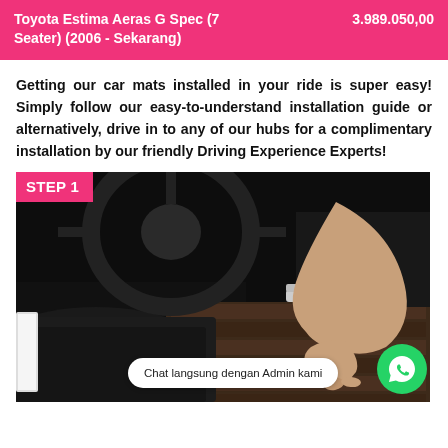Toyota Estima Aeras G Spec (7 Seater) (2006 - Sekarang)    3.989.050,00
Getting our car mats installed in your ride is super easy! Simply follow our easy-to-understand installation guide or alternatively, drive in to any of our hubs for a complimentary installation by our friendly Driving Experience Experts!
[Figure (photo): Step 1 photo showing a person's hand installing a car mat in a vehicle interior, with the car's steering wheel and floor visible. A pink 'STEP 1' badge overlays the top-left corner. A WhatsApp chat button and 'Chat langsung dengan Admin kami' bubble appear at the bottom.]